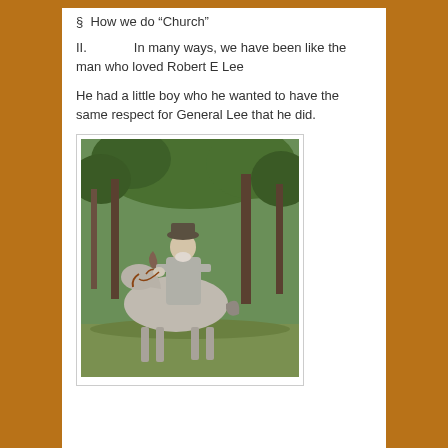§  How we do "Church"
II.            In many ways, we have been like the man who loved Robert E Lee
He had a little boy who he wanted to have the same respect for General Lee that he did.
[Figure (photo): Historical photograph of a man in a Confederate-era grey uniform and hat, riding a grey horse in a wooded outdoor setting with green trees in background.]